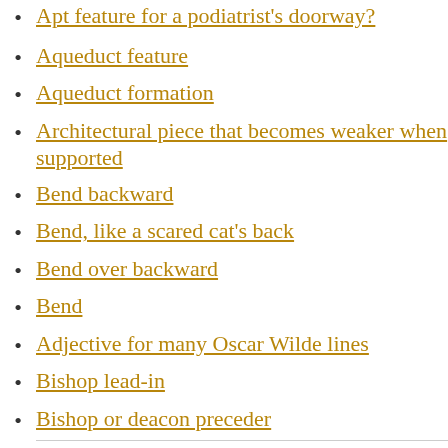Apt feature for a podiatrist's doorway?
Aqueduct feature
Aqueduct formation
Architectural piece that becomes weaker when supported
Bend backward
Bend, like a scared cat's back
Bend over backward
Bend
Adjective for many Oscar Wilde lines
Bishop lead-in
Bishop or deacon preceder
Bishop starter